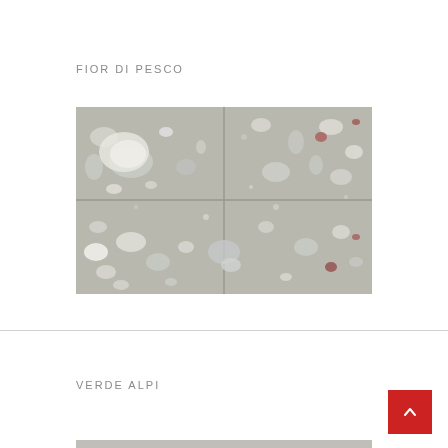FIOR DI PESCO
[Figure (photo): Close-up photograph of Fior di Pesco stone/marble surface showing grey/beige terrazzo-like texture with white, grey, and reddish stone fragments embedded in a cement matrix, displayed in a rectangular grid tile layout.]
VERDE ALPI